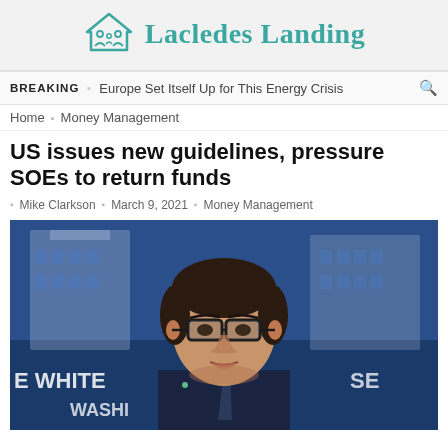Lacledes Landing
BREAKING  Europe Set Itself Up for This Energy Crisis
Home  Money Management
US issues new guidelines, pressure SOEs to return funds
Mike Clarkson  March 9, 2021  Money Management
[Figure (photo): Man in glasses speaking at White House press briefing podium, with blue White House backdrop visible behind him.]